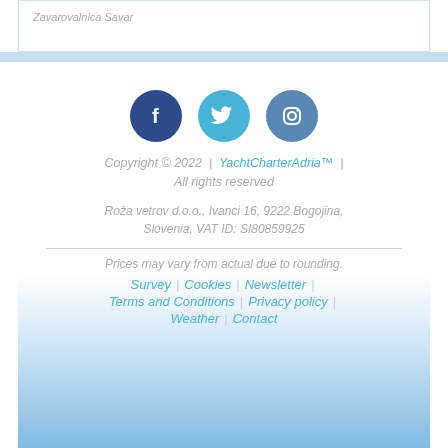Zavarovalnica Savar
[Figure (illustration): Social media icons: Facebook (dark blue circle), Twitter (light blue circle), Instagram (medium blue circle)]
Copyright © 2022 | YachtCharterAdria™ | All rights reserved
Roža vetrov d.o.o., Ivanci 16, 9222 Bogojina, Slovenia, VAT ID: SI80859925
Prices may vary from actual due to rounding.
Survey | Cookies | Newsletter | Terms and Conditions | Privacy policy | Weather | Contact